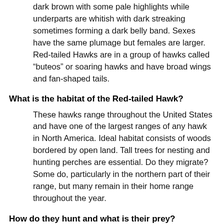dark brown with some pale highlights while underparts are whitish with dark streaking sometimes forming a dark belly band. Sexes have the same plumage but females are larger. Red-tailed Hawks are in a group of hawks called “buteos” or soaring hawks and have broad wings and fan-shaped tails.
What is the habitat of the Red-tailed Hawk?
These hawks range throughout the United States and have one of the largest ranges of any hawk in North America. Ideal habitat consists of woods bordered by open land. Tall trees for nesting and hunting perches are essential. Do they migrate? Some do, particularly in the northern part of their range, but many remain in their home range throughout the year.
How do they hunt and what is their prey?
When hunting wary prey like rabbits or squirrels, Red-tailed Hawks may hunt from a high tree perch or by soaring at a moderate height above the ground, swooping down to catch the prey with their talons at the